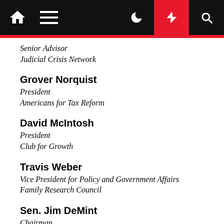[Figure (screenshot): Navigation bar with home icon, hamburger menu, dark/light toggle, lightning bolt (red background), and search icon]
Senior Advisor
Judicial Crisis Network
Grover Norquist
President
Americans for Tax Reform
David McIntosh
President
Club for Growth
Travis Weber
Vice President for Policy and Government Affairs
Family Research Council
Sen. Jim DeMint
Chairman
Conservative Partnership Institute